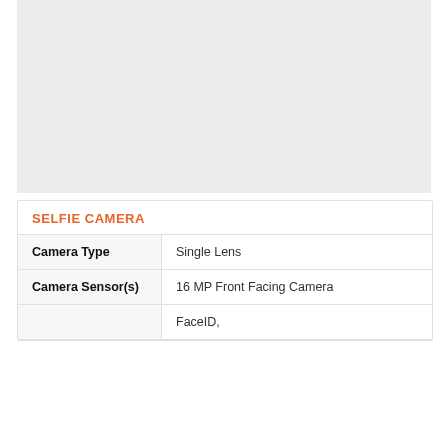[Figure (photo): Gray placeholder image area at the top of the page]
SELFIE CAMERA
| Camera Type | Single Lens |
| Camera Sensor(s) | 16 MP Front Facing Camera |
|  | FaceID, |